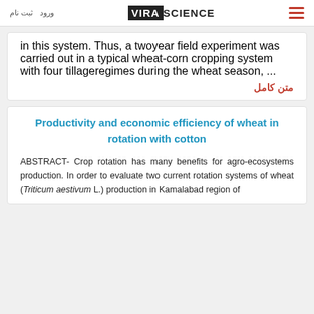ثبت نام  ورود  VIRA SCIENCE
in this system. Thus, a twoyear field experiment was carried out in a typical wheat-corn cropping system with four tillageregimes during the wheat season, ...
متن کامل
Productivity and economic efficiency of wheat in rotation with cotton
ABSTRACT- Crop rotation has many benefits for agro-ecosystems production. In order to evaluate two current rotation systems of wheat (Triticum aestivum L.) production in Kamalabad region of